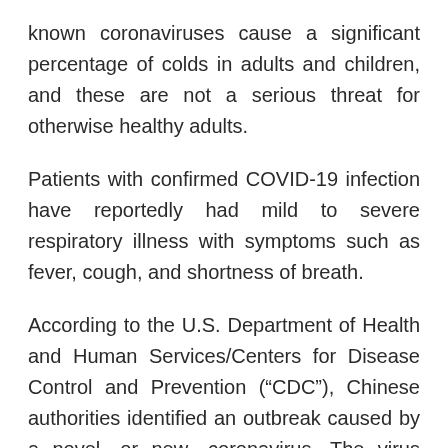known coronaviruses cause a significant percentage of colds in adults and children, and these are not a serious threat for otherwise healthy adults.
Patients with confirmed COVID-19 infection have reportedly had mild to severe respiratory illness with symptoms such as fever, cough, and shortness of breath.
According to the U.S. Department of Health and Human Services/Centers for Disease Control and Prevention (“CDC”), Chinese authorities identified an outbreak caused by a novel—or new—coronavirus. The virus can